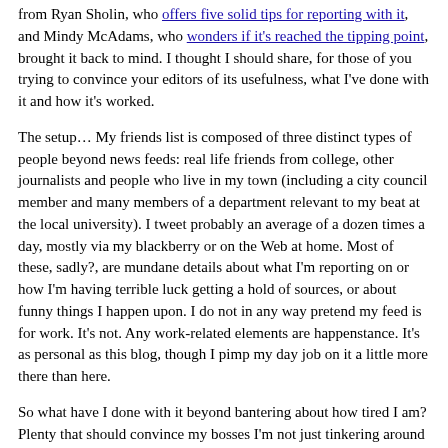from Ryan Sholin, who offers five solid tips for reporting with it, and Mindy McAdams, who wonders if it's reached the tipping point, brought it back to mind. I thought I should share, for those of you trying to convince your editors of its usefulness, what I've done with it and how it's worked.
The setup… My friends list is composed of three distinct types of people beyond news feeds: real life friends from college, other journalists and people who live in my town (including a city council member and many members of a department relevant to my beat at the local university). I tweet probably an average of a dozen times a day, mostly via my blackberry or on the Web at home. Most of these, sadly?, are mundane details about what I'm reporting on or how I'm having terrible luck getting a hold of sources, or about funny things I happen upon. I do not in any way pretend my feed is for work. It's not. Any work-related elements are happenstance. It's as personal as this blog, though I pimp my day job on it a little more there than here.
So what have I done with it beyond bantering about how tired I am? Plenty that should convince my bosses I'm not just tinkering around with the technology. (Though I still limit its use during the work day, because I don't want to leave a trail of perceived procrastination/unproductiveness.)